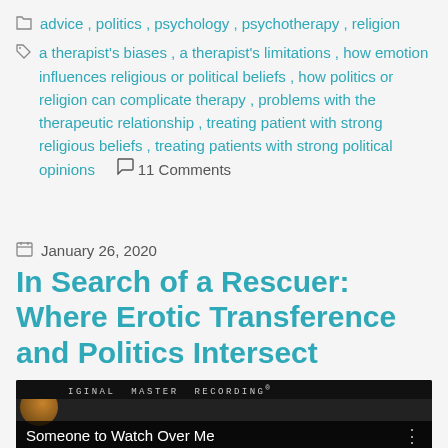advice, politics, psychology, psychotherapy, religion
a therapist's biases, a therapist's limitations, how emotion influences religious or political beliefs, how politics or religion can complicate therapy, problems with the therapeutic relationship, treating patient with strong religious beliefs, treating patients with strong political opinions  💬 11 Comments
January 26, 2020
In Search of a Rescuer: Where Erotic Transference and Politics Intersect
[Figure (screenshot): Thumbnail image showing a vinyl record album cover with text 'ORIGINAL MASTER RECORDING' at top and 'Someone to Watch Over Me' as subtitle on dark background]